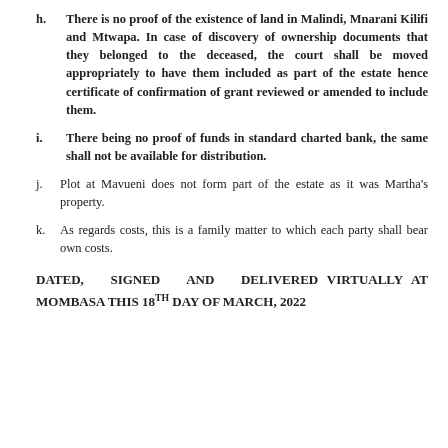h. There is no proof of the existence of land in Malindi, Mnarani Kilifi and Mtwapa. In case of discovery of ownership documents that they belonged to the deceased, the court shall be moved appropriately to have them included as part of the estate hence certificate of confirmation of grant reviewed or amended to include them.
i. There being no proof of funds in standard charted bank, the same shall not be available for distribution.
j. Plot at Mavueni does not form part of the estate as it was Martha's property.
k. As regards costs, this is a family matter to which each party shall bear own costs.
DATED, SIGNED AND DELIVERED VIRTUALLY AT MOMBASA THIS 18TH DAY OF MARCH, 2022